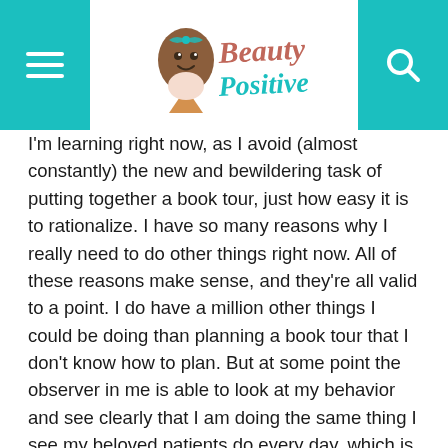Beauty Positive
I'm learning right now, as I avoid (almost constantly) the new and bewildering task of putting together a book tour, just how easy it is to rationalize. I have so many reasons why I really need to do other things right now. All of these reasons make sense, and they're all valid to a point. I do have a million other things I could be doing than planning a book tour that I don't know how to plan. But at some point the observer in me is able to look at my behavior and see clearly that I am doing the same thing I see my beloved patients do every day, which is choose their priorities.
We humans are funny animals
We seem to choose our priorities partly because of what is really important to us and partly because of fear of failure. I can see my patients making excuses for not exercising when